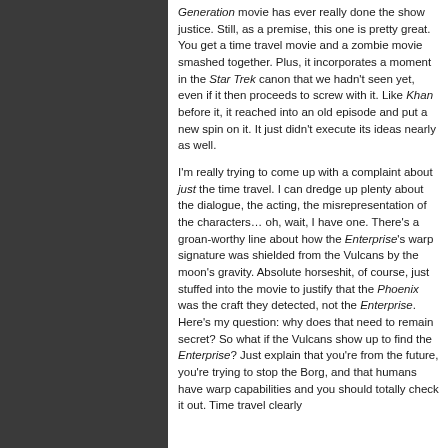Generation movie has ever really done the show justice. Still, as a premise, this one is pretty great. You get a time travel movie and a zombie movie smashed together. Plus, it incorporates a moment in the Star Trek canon that we hadn't seen yet, even if it then proceeds to screw with it. Like Khan before it, it reached into an old episode and put a new spin on it. It just didn't execute its ideas nearly as well.
I'm really trying to come up with a complaint about just the time travel. I can dredge up plenty about the dialogue, the acting, the misrepresentation of the characters… oh, wait, I have one. There's a groan-worthy line about how the Enterprise's warp signature was shielded from the Vulcans by the moon's gravity. Absolute horseshit, of course, just stuffed into the movie to justify that the Phoenix was the craft they detected, not the Enterprise. Here's my question: why does that need to remain secret? So what if the Vulcans show up to find the Enterprise? Just explain that you're from the future, you're trying to stop the Borg, and that humans have warp capabilities and you should totally check it out. Time travel clearly